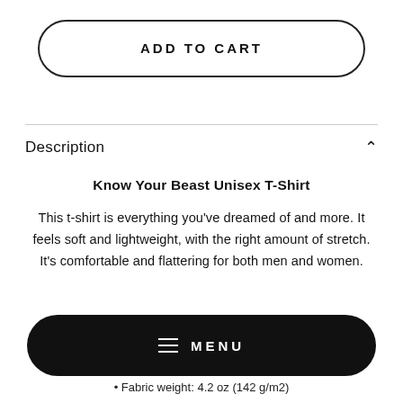ADD TO CART
Description
Know Your Beast Unisex T-Shirt
This t-shirt is everything you've dreamed of and more. It feels soft and lightweight, with the right amount of stretch. It's comfortable and flattering for both men and women.
MENU
• Fabric weight: 4.2 oz (142 g/m2)